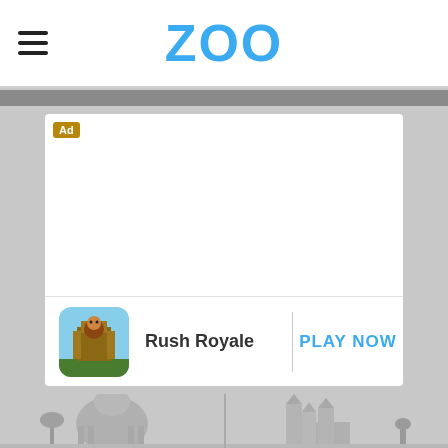ZOO
[Figure (screenshot): Advertisement card for Rush Royale mobile game with 'Ad' label, game icon, title 'Rush Royale', and 'PLAY NOW' call-to-action button]
[Figure (photo): Two grayscale panoramic city/landmark photos side by side at the bottom of the page]